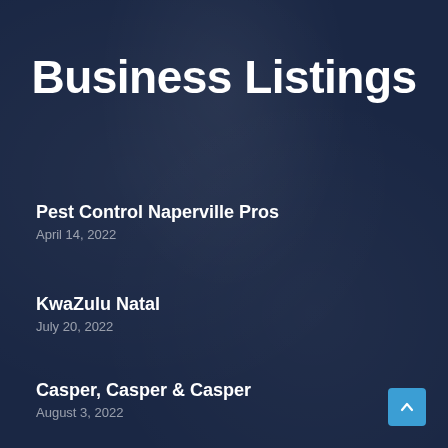Business Listings
Pest Control Naperville Pros
April 14, 2022
KwaZulu Natal
July 20, 2022
Casper, Casper & Casper
August 3, 2022